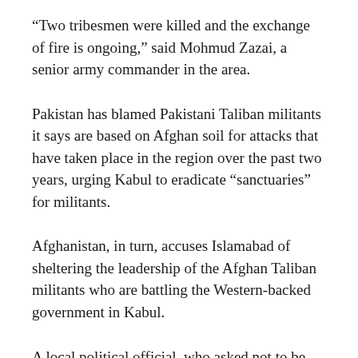“Two tribesmen were killed and the exchange of fire is ongoing,” said Mohmud Zazai, a senior army commander in the area.
Pakistan has blamed Pakistani Taliban militants it says are based on Afghan soil for attacks that have taken place in the region over the past two years, urging Kabul to eradicate “sanctuaries” for militants.
Afghanistan, in turn, accuses Islamabad of sheltering the leadership of the Afghan Taliban militants who are battling the Western-backed government in Kabul.
A local political official, who asked not to be identified, said that Pakistani security forces had responded on